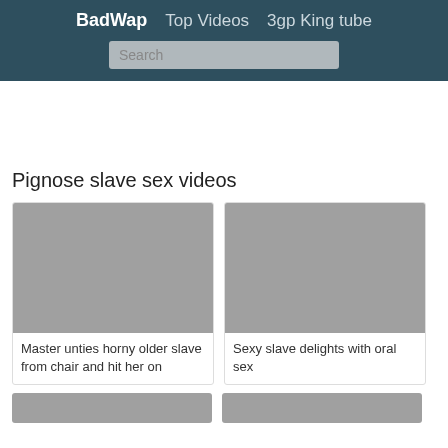BadWap  Top Videos  3gp King tube
Pignose slave sex videos
[Figure (screenshot): Gray video thumbnail placeholder for first video card]
Master unties horny older slave from chair and hit her on
[Figure (screenshot): Gray video thumbnail placeholder for second video card]
Sexy slave delights with oral sex